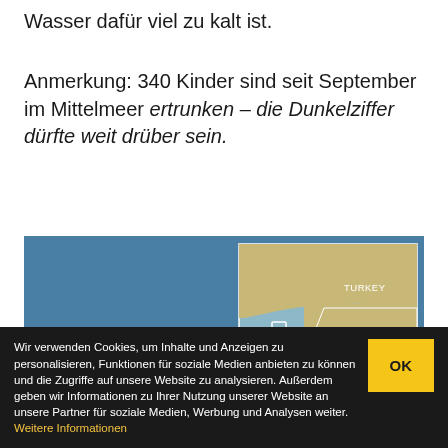Wasser dafür viel zu kalt ist.
Anmerkung: 340 Kinder sind seit September im Mittelmeer ertrunken – die Dunkelziffer dürfte weit drüber sein.
[Figure (map): Satellite/political map of the Eastern Mediterranean region showing Greece, Turkey, Syria, Lebanon, Egypt, and Iraq. An inset map in the upper-right shows a wider regional view with country labels.]
Wir verwenden Cookies, um Inhalte und Anzeigen zu personalisieren, Funktionen für soziale Medien anbieten zu können und die Zugriffe auf unsere Website zu analysieren. Außerdem geben wir Informationen zu Ihrer Nutzung unserer Website an unsere Partner für soziale Medien, Werbung und Analysen weiter. Weitere Informationen